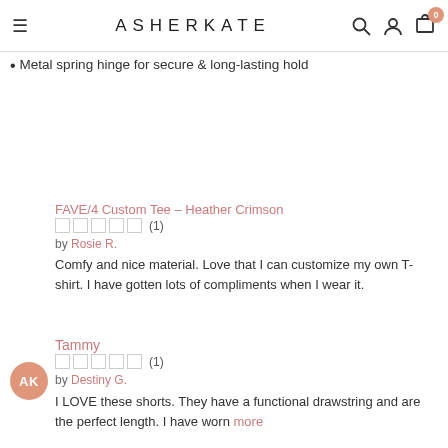ASHERKATE
Metal spring hinge for secure & long-lasting hold
FAVE/4 Custom Tee – Heather Crimson
(1)
by Rosie R.
Comfy and nice material. Love that I can customize my own T-shirt. I have gotten lots of compliments when I wear it.
Tammy
(1)
by Destiny G.
I LOVE these shorts. They have a functional drawstring and are the perfect length. I have worn more